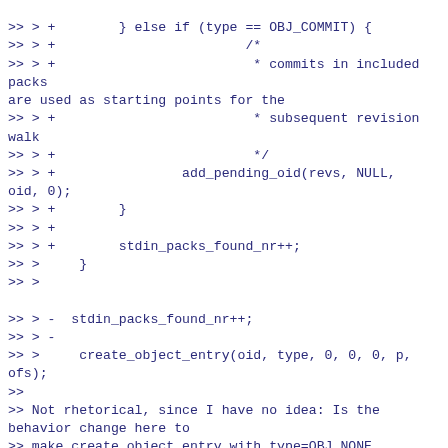>> > +        } else if (type == OBJ_COMMIT) {
>> > +                        /*
>> > +                         * commits in included packs are used as starting points for the
>> > +                         * subsequent revision walk
>> > +                         */
>> > +                add_pending_oid(revs, NULL, oid, 0);
>> > +        }
>> > +
>> > +        stdin_packs_found_nr++;
>> >     }
>> >
>> > -  stdin_packs_found_nr++;
>> > -
>> >     create_object_entry(oid, type, 0, 0, 0, p, ofs);
>>
>> Not rhetorical, since I have no idea: Is the behavior change here to
>> make create_object_entry with type=OBJ_NONE desired? I.e. do we actually
>> want to create object entries for OBJ_NONE?
>
> This is intentional. OBJ_NONE tells create_object_entry() "we don't know
> the type of this object yet", and then `check_object()` (which does the
> bulk of the work in the "Counting objects" phase) goes through and fills